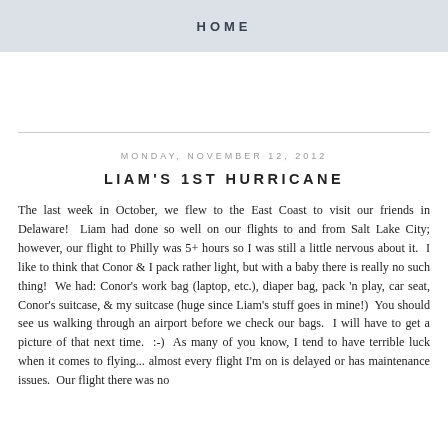HOME
MONDAY, NOVEMBER 12, 2012
LIAM'S 1ST HURRICANE
The last week in October, we flew to the East Coast to visit our friends in Delaware!  Liam had done so well on our flights to and from Salt Lake City; however, our flight to Philly was 5+ hours so I was still a little nervous about it.  I like to think that Conor & I pack rather light, but with a baby there is really no such thing!  We had: Conor's work bag (laptop, etc.), diaper bag, pack 'n play, car seat, Conor's suitcase, & my suitcase (huge since Liam's stuff goes in mine!)  You should see us walking through an airport before we check our bags.  I will have to get a picture of that next time.  :-)  As many of you know, I tend to have terrible luck when it comes to flying... almost every flight I'm on is delayed or has maintenance issues.  Our flight there was no exception. The one story among others didn't disappoint and